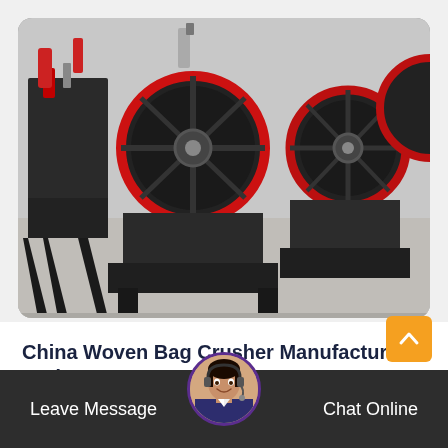[Figure (photo): Industrial woven bag crusher machines lined up in a factory setting, featuring large red-rimmed flywheels and black metal frames on a concrete floor.]
China Woven Bag Crusher Manufacturers And Factory
The companys products very well we have purchased and cooperated many times fair price and assured quality in short this is a trustworthy...
More Details
Leave Message   Chat Online